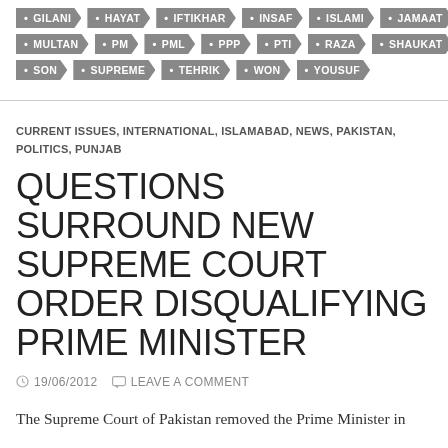GILANI • HAYAT • IFTIKHAR • INSAF • ISLAMI • JAMAAT • MULTAN • PM • PML • PPP • PTI • RAZA • SHAUKAT • SON • SUPREME • TEHRIK • WON • YOUSUF
CURRENT ISSUES, INTERNATIONAL, ISLAMABAD, NEWS, PAKISTAN, POLITICS, PUNJAB
QUESTIONS SURROUND NEW SUPREME COURT ORDER DISQUALIFYING PRIME MINISTER
19/06/2012   LEAVE A COMMENT
The Supreme Court of Pakistan removed the Prime Minister in